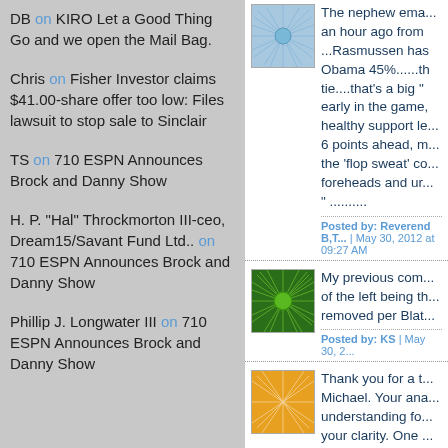DB on KIRO Let a Good Thing Go and we open the Mail Bag.
Chris on Fisher Investor claims $41.00-share offer too low: Files lawsuit to stop sale to Sinclair
TS on 710 ESPN Announces Brock and Danny Show
H. P. "Hal" Throckmorton III-ceo, Dream15/Savant Fund Ltd.. on 710 ESPN Announces Brock and Danny Show
Phillip J. Longwater III on 710 ESPN Announces Brock and Danny Show
The nephew ema... an hour ago from ...Rasmussen has Obama 45%......the tie....that's a big " early in the game, healthy support le... 6 points ahead, m... the 'flop sweat' co... foreheads and ur... " ..........
Posted by: Reverend B,T... | May 30, 2012 at 09:27 AM
My previous com... of the left being th... removed per Blat...
Posted by: KS | May 30, 2...
Thank you for a t... Michael. Your ana... understanding fo... your clarity. One ... Hayes and Chris...